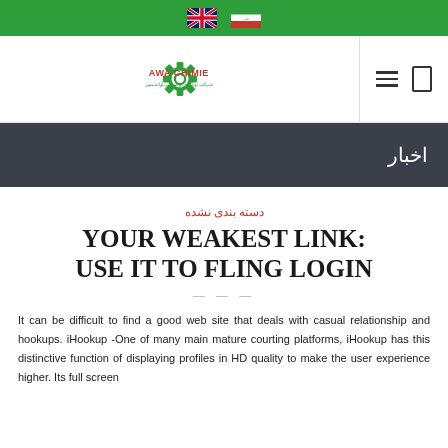[Figure (logo): Green top bar with UK and Iran flag icons]
[Figure (logo): Awa Chimie company logo with gear icon and Persian/English text, plus hamburger menu and search icon]
اخبار
دسته بندی نشده
YOUR WEAKEST LINK: USE IT TO FLING LOGIN
It can be difficult to find a good web site that deals with casual relationship and hookups. iHookup -One of many main mature courting platforms, iHookup has this distinctive function of displaying profiles in HD quality to make the user experience higher. Its full screen